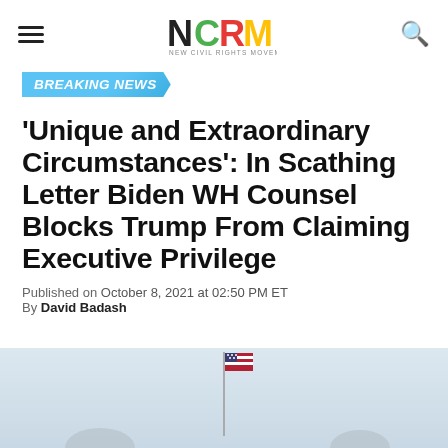New Civil Rights Movement
BREAKING NEWS
'Unique and Extraordinary Circumstances': In Scathing Letter Biden WH Counsel Blocks Trump From Claiming Executive Privilege
Published on October 8, 2021 at 02:50 PM ET
By David Badash
[Figure (photo): Photo of an American flag on a flagpole against a light blue sky background]